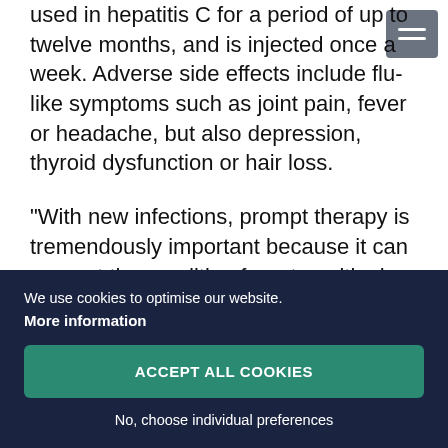used in hepatitis C for a period of up to twelve months, and is injected once a week. Adverse side effects include flu-like symptoms such as joint pain, fever or headache, but also depression, thyroid dysfunction or hair loss.
“With new infections, prompt therapy is tremendously important because it can prevent the condition from transitioning into a chronic disease,” stresses Hofer. Even when the disease has become chronic, the virus can be cured permanently with treatment.“98 percent of patients who receive a...
We use cookies to optimise our website.
More information
ACCEPT ALL COOKIES
No, choose individual preferences